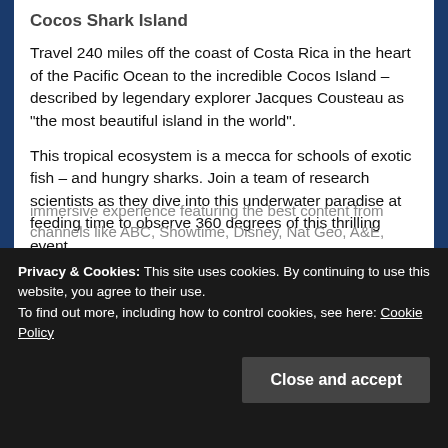Cocos Shark Island
Travel 240 miles off the coast of Costa Rica in the heart of the Pacific Ocean to the incredible Cocos Island – described by legendary explorer Jacques Cousteau as “the most beautiful island in the world”.
This tropical ecosystem is a mecca for schools of exotic fish – and hungry sharks. Join a team of research scientists as they dive into this underwater paradise at feeding time to observe 360 degrees of this thrilling event.
David Attenborough’s First Life VR
Go on a journey of discovery to the Cambrian Oceans of 540 million years ago as David Attenborough reveals the dawn of life – and introduces you to the earliest inhabitants
Privacy & Cookies: This site uses cookies. By continuing to use this website, you agree to their use.
To find out more, including how to control cookies, see here: Cookie Policy
Close and accept
immersive experience featuring the best content from channels like ABC, Showtime, Disney, Nat Geo, A&E,